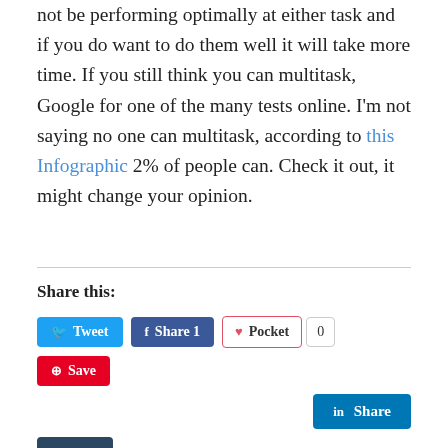not be performing optimally at either task and if you do want to do them well it will take more time. If you still think you can multitask, Google for one of the many tests online. I'm not saying no one can multitask, according to this Infographic 2% of people can. Check it out, it might change your opinion.
Share this:
[Figure (other): Social share buttons: Tweet (Twitter, blue), Share 1 (Facebook, dark blue), Pocket (white with red border) with count 0, Save (Pinterest, red), Share (LinkedIn, blue), Post (Tumblr, dark navy)]